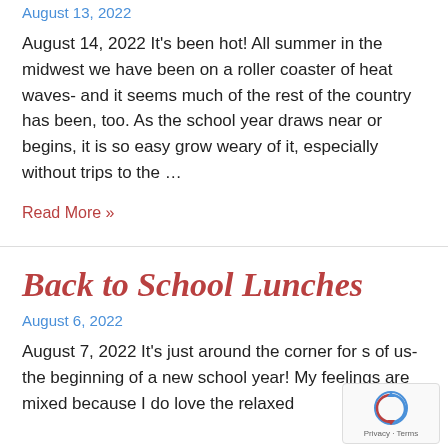August 13, 2022
August 14, 2022 It's been hot! All summer in the midwest we have been on a roller coaster of heat waves- and it seems much of the rest of the country has been, too. As the school year draws near or begins, it is so easy grow weary of it, especially without trips to the …
Read More »
Back to School Lunches
August 6, 2022
August 7, 2022 It's just around the corner for s of us- the beginning of a new school year! My feelings are mixed because I do love the relaxed